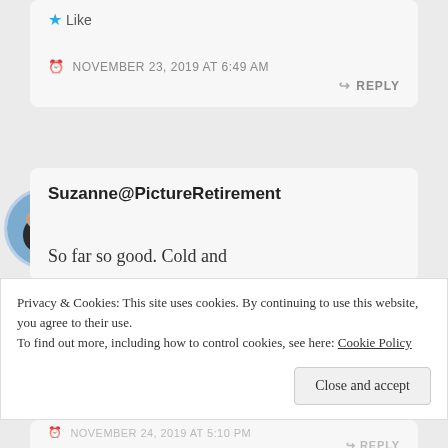[Figure (other): Like button with blue star icon and 'Like' text]
NOVEMBER 23, 2019 AT 6:49 AM
REPLY
[Figure (photo): Circular avatar photo of a couple]
Suzanne@PictureRetirement
So far so good. Cold and
Privacy & Cookies: This site uses cookies. By continuing to use this website, you agree to their use.
To find out more, including how to control cookies, see here: Cookie Policy
Close and accept
NOVEMBER 24, 2019 AT 5:10 PM
REPLY